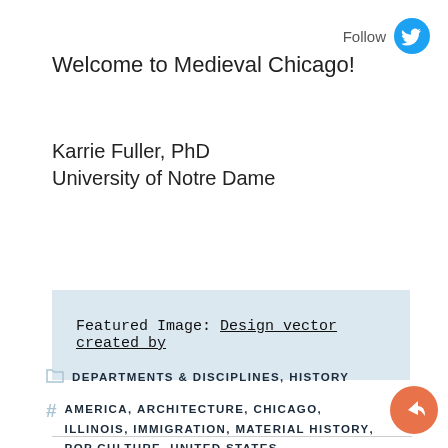Follow
Welcome to Medieval Chicago!
Karrie Fuller, PhD
University of Notre Dame
Featured Image: Design vector created by
DEPARTMENTS & DISCIPLINES, HISTORY
AMERICA, ARCHITECTURE, CHICAGO, ILLINOIS, IMMIGRATION, MATERIAL HISTORY, POP CULTURE, UNITED STATES